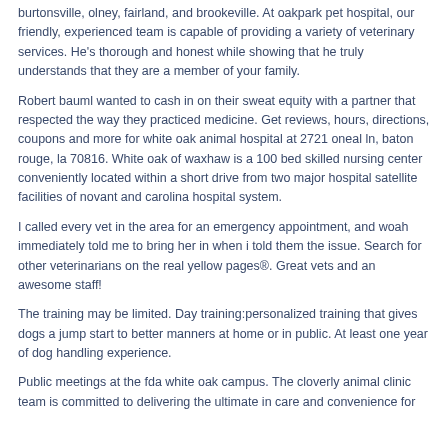burtonsville, olney, fairland, and brookeville. At oakpark pet hospital, our friendly, experienced team is capable of providing a variety of veterinary services. He's thorough and honest while showing that he truly understands that they are a member of your family.
Robert bauml wanted to cash in on their sweat equity with a partner that respected the way they practiced medicine. Get reviews, hours, directions, coupons and more for white oak animal hospital at 2721 oneal ln, baton rouge, la 70816. White oak of waxhaw is a 100 bed skilled nursing center conveniently located within a short drive from two major hospital satellite facilities of novant and carolina hospital system.
I called every vet in the area for an emergency appointment, and woah immediately told me to bring her in when i told them the issue. Search for other veterinarians on the real yellow pages®. Great vets and an awesome staff!
The training may be limited. Day training:personalized training that gives dogs a jump start to better manners at home or in public. At least one year of dog handling experience.
Public meetings at the fda white oak campus. The cloverly animal clinic team is committed to delivering the ultimate in care and convenience for